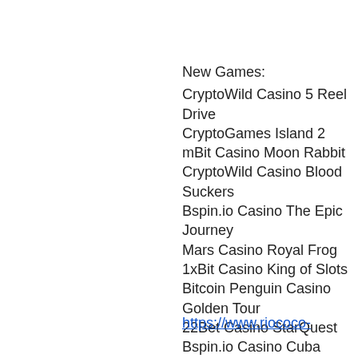New Games:
CryptoWild Casino 5 Reel Drive
CryptoGames Island 2
mBit Casino Moon Rabbit
CryptoWild Casino Blood Suckers
Bspin.io Casino The Epic Journey
Mars Casino Royal Frog
1xBit Casino King of Slots
Bitcoin Penguin Casino Golden Tour
22Bet Casino StarQuest
Bspin.io Casino Cuba Caliente
Syndicate Casino Good Girl Bad Girl
Bitcoin Penguin Casino Bachelorette Party
FortuneJack Casino Book of Crazy Chicken Golden Nights
OneHash Syndicate
22Bet Casino Bell Wizard
https://www.riococo-